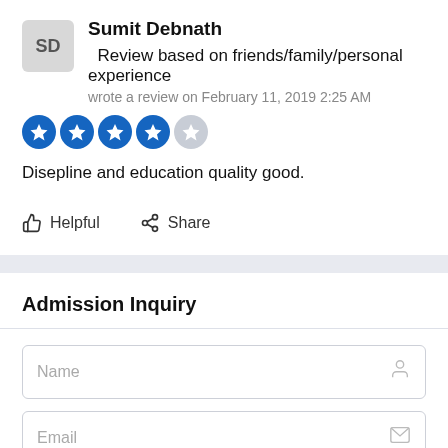SD Sumit Debnath  Review based on friends/family/personal experience
wrote a review on February 11, 2019 2:25 AM
[Figure (other): 4 out of 5 stars rating — four filled blue star circles and one empty grey star circle]
Disepline and education quality good.
Helpful   Share
Admission Inquiry
Name
Email